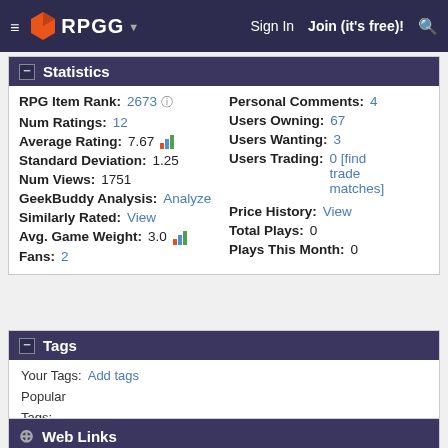RPGG — Sign In  Join (it's free)!
Statistics
| Field | Value | Field | Value |
| --- | --- | --- | --- |
| RPG Item Rank: | 2673 | Personal Comments: | 4 |
| Num Ratings: | 12 | Users Owning: | 67 |
| Average Rating: | 7.67 | Users Wanting: | 3 |
| Standard Deviation: | 1.25 | Users Trading: | 0 [find trade matches] |
| Num Views: | 1751 | Price History: | View |
| GeekBuddy Analysis: | Analyze | Total Plays: | 0 |
| Similarly Rated: | View | Plays This Month: | 0 |
| Avg. Game Weight: | 3.0 |  |  |
| Fans: | 2 |  |  |
Tags
Your Tags: Add tags
Popular Tags: RPG [+] PDF [+] Planescape [+] Level_5-9 [+] Library:Google-Drive [+] System:AD&D(2nd) [+] [View All]
Web Links